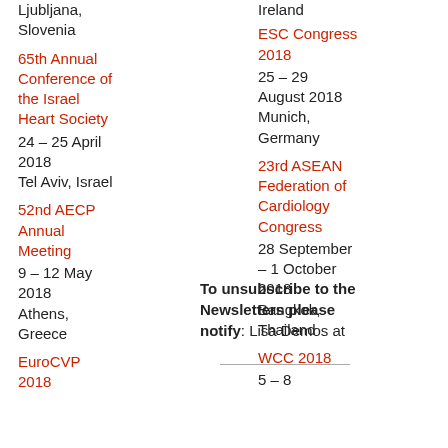Ljubljana, Slovenia
65th Annual Conference of the Israel Heart Society
24 – 25 April 2018
Tel Aviv, Israel
52nd AECP Annual Meeting
9 – 12 May 2018
Athens, Greece
EuroCVP 2018
Ireland
ESC Congress 2018
25 – 29 August 2018
Munich, Germany
23rd ASEAN Federation of Cardiology Congress
28 September – 1 October 2018
Bangkok, Thailand
WCC 2018
5 – 8
To unsubscribe to the Newsletters please notify: Lisa Demos at